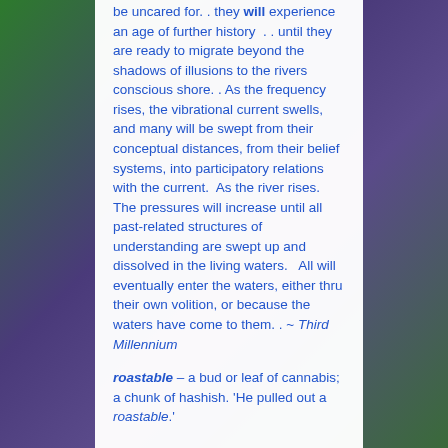be uncared for. . they will experience an age of further history . . until they are ready to migrate beyond the shadows of illusions to the rivers conscious shore. . As the frequency rises, the vibrational current swells, and many will be swept from their conceptual distances, from their belief systems, into participatory relations with the current. As the river rises. The pressures will increase until all past-related structures of understanding are swept up and dissolved in the living waters.   All will eventually enter the waters, either thru their own volition, or because the waters have come to them. . ~ Third Millennium
roastable – a bud or leaf of cannabis;  a chunk of hashish. 'He pulled out a roastable.'